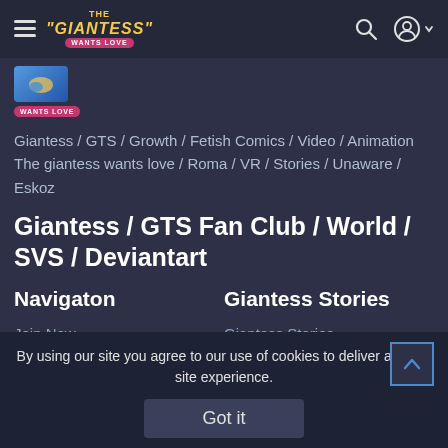The Giantess Wants Love — navigation header with hamburger menu, logo, search icon, and user icon
[Figure (screenshot): Thumbnail image with blue background and pink 'WANTS LOVE' badge]
Giantess / GTS / Growth / Fetish Comics / Video / Animation The giantess wants love / Roma / VR / Stories / Unaware / Eskoz
Giantess / GTS Fan Club / World / SVS / Deviantart
Navigaton
Giantess Stories
Join Now
Giantess Stories
By using our site you agree to our use of cookies to deliver a better site experience.
Got it